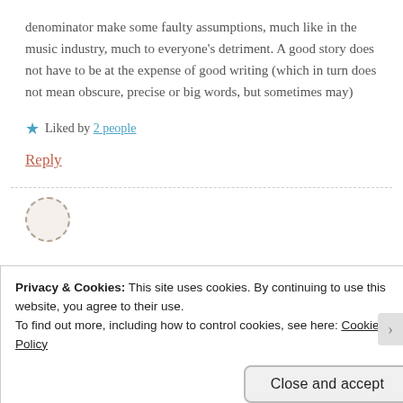denominator make some faulty assumptions, much like in the music industry, much to everyone's detriment. A good story does not have to be at the expense of good writing (which in turn does not mean obscure, precise or big words, but sometimes may)
★ Liked by 2 people
Reply
Privacy & Cookies: This site uses cookies. By continuing to use this website, you agree to their use.
To find out more, including how to control cookies, see here: Cookie Policy
Close and accept